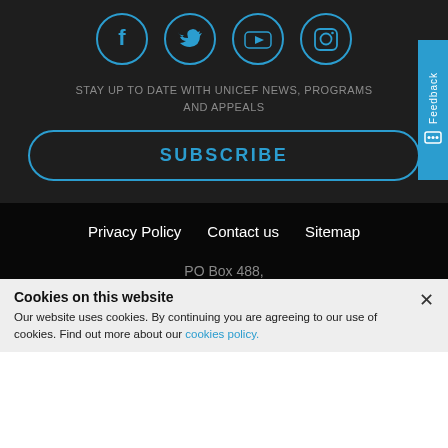[Figure (illustration): Four social media icon circles in blue outline: Facebook, Twitter, YouTube, Instagram]
STAY UP TO DATE WITH UNICEF NEWS, PROGRAMS AND APPEALS
SUBSCRIBE
Privacy Policy   Contact us   Sitemap
PO Box 488, Queen Victoria Building, NSW 1230
Cookies on this website
Our website uses cookies. By continuing you are agreeing to our use of cookies. Find out more about our cookies policy.